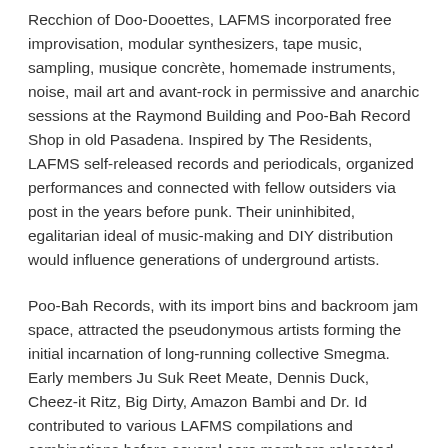Recchion of Doo-Dooettes, LAFMS incorporated free improvisation, modular synthesizers, tape music, sampling, musique concrète, homemade instruments, noise, mail art and avant-rock in permissive and anarchic sessions at the Raymond Building and Poo-Bah Record Shop in old Pasadena. Inspired by The Residents, LAFMS self-released records and periodicals, organized performances and connected with fellow outsiders via post in the years before punk. Their uninhibited, egalitarian ideal of music-making and DIY distribution would influence generations of underground artists.
Poo-Bah Records, with its import bins and backroom jam space, attracted the pseudonymous artists forming the initial incarnation of long-running collective Smegma. Early members Ju Suk Reet Meate, Dennis Duck, Cheez-it Ritz, Big Dirty, Amazon Bambi and Dr. Id contributed to various LAFMS compilations and combinations before several core members relocated